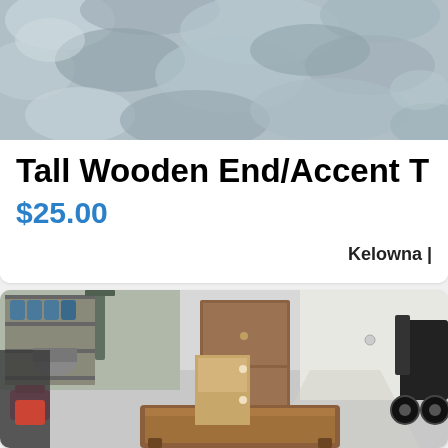[Figure (photo): Partial top of a gray fluffy rug or carpet texture, cropped at top of page]
Tall Wooden End/Accent T
$25.00
Kelowna |
[Figure (photo): Garage interior with a wooden coffee table in foreground, a brown cabinet/wardrobe in center, blue water jugs on shelving at left, a pink bag, and a black stroller at right]